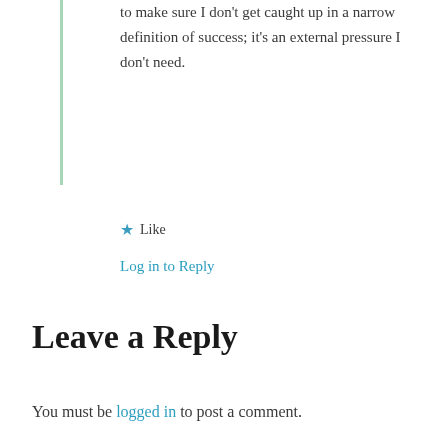to make sure I don't get caught up in a narrow definition of success; it's an external pressure I don't need.
★ Like
Log in to Reply
Leave a Reply
You must be logged in to post a comment.